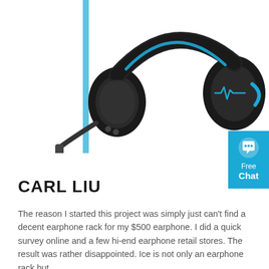[Figure (photo): Black and blue gaming headphone photographed from the front, with heartbeat logo on the earcup, positioned in upper portion of page]
[Figure (infographic): Blue 'Free Chat' badge widget in upper right corner with speech bubble icon]
CARL LIU
The reason I started this project was simply just can't find a decent earphone rack for my $500 earphone. I did a quick survey online and a few hi-end earphone retail stores. The result was rather disappointed. Ice is not only an earphone rack but …
[Figure (other): Orange rounded 'Get Price' button]
[Figure (photo): Close-up of black headphone headband arc at bottom of page]